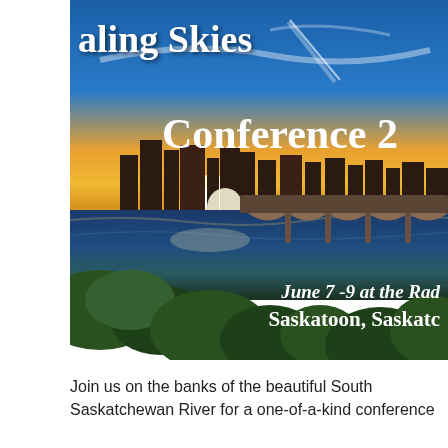[Figure (photo): A cityscape at sunset with a river in the foreground reflecting the sky, a stone arch bridge visible on the right, greenery in the foreground, and conference text overlay reading 'aling Skies Conference 2[0]', 'June 7-9 at the Rad[isson]', 'Saskatoon, Saskatc[hewan]']
Join us on the banks of the beautiful South Saskatchewan River for a one-of-a-kind conference